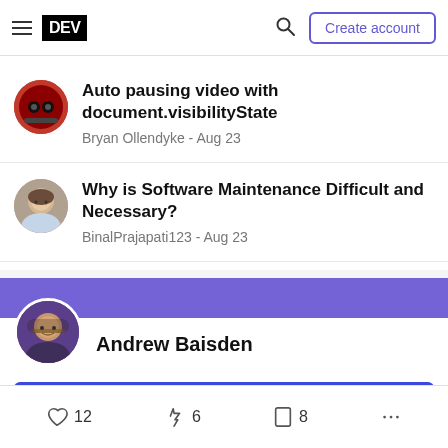DEV — Create account
Auto pausing video with document.visibilityState
Bryan Ollendyke - Aug 23
Why is Software Maintenance Difficult and Necessary?
BinalPrajapati123 - Aug 23
Andrew Baisden
Follow
12  6  8  ...